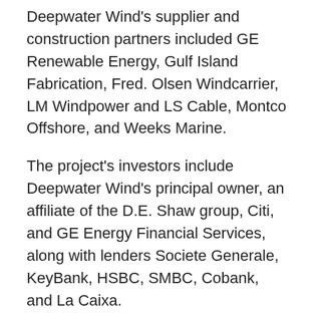Deepwater Wind's supplier and construction partners included GE Renewable Energy, Gulf Island Fabrication, Fred. Olsen Windcarrier, LM Windpower and LS Cable, Montco Offshore, and Weeks Marine.
The project's investors include Deepwater Wind's principal owner, an affiliate of the D.E. Shaw group, Citi, and GE Energy Financial Services, along with lenders Societe Generale, KeyBank, HSBC, SMBC, Cobank, and La Caixa.
“We’ve made history here in the Ocean State, but our work is far from over,” Grybowski said. “We’re more confident than ever that this is just the start of a new U.S. renewable energy industry that will put thousands of